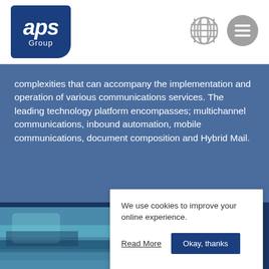[Figure (logo): APS Group logo — dark blue rounded rectangle with white bold italic 'aps' text and 'Group' below]
[Figure (illustration): Globe/world icon in grey outline style]
[Figure (illustration): Hamburger menu icon — three horizontal lines in grey circle]
complexities that can accompany the implementation and operation of various communications services. The leading technology platform encompasses; multichannel communications, inbound automation, mobile communications, document composition and Hybrid Mail.
[Figure (photo): Partial photo of people, clothing visible in teal/blue striped tones]
We use cookies to improve your online experience.
Read More
Okay, thanks